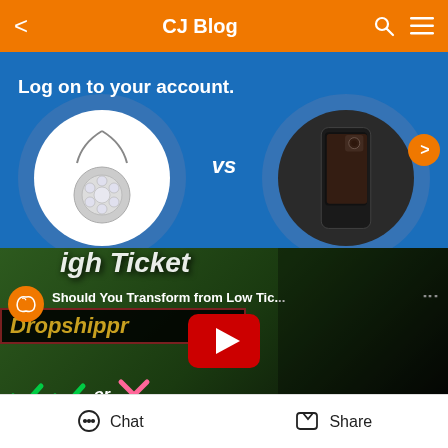CJ Blog
[Figure (screenshot): Banner carousel showing jewelry necklace vs phone case comparison with 'Log on to your account.' text on blue background]
[Figure (screenshot): YouTube video thumbnail: 'Should You Transform from Low Tic...' - High Ticket Dropshipping video by CJ with play button, channel icon, and check/X marks at bottom]
Normally, The standard dropshipping business
Chat   Share